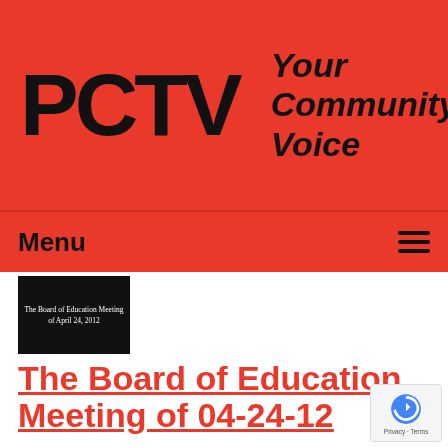[Figure (logo): PCTV logo with text 'Your Community Voice' on red background]
Menu
[Figure (screenshot): Thumbnail image of 'The Board of Education Meeting of April 24, 2012' with white text on black background]
The Board of Education Meeting of 04-24-12
Airdate: 04/24/2012
Guests: Mayor Peter